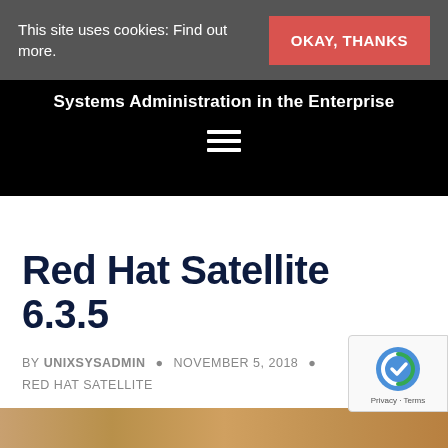This site uses cookies: Find out more.  OKAY, THANKS
Systems Administration in the Enterprise
Red Hat Satellite 6.3.5
BY UNIXSYSADMIN · NOVEMBER 5, 2018 · RED HAT SATELLITE
[Figure (photo): Partial image of a wooden surface visible at bottom of page]